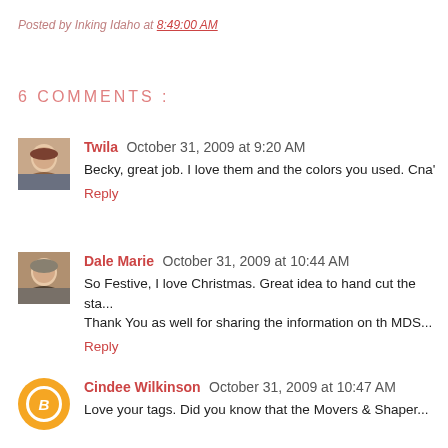Posted by Inking Idaho at 8:49:00 AM
6 COMMENTS :
Twila  October 31, 2009 at 9:20 AM
Becky, great job. I love them and the colors you used. Cna'
Reply
Dale Marie  October 31, 2009 at 10:44 AM
So Festive, I love Christmas. Great idea to hand cut the sta...
Thank You as well for sharing the information on th MDS...
Reply
Cindee Wilkinson  October 31, 2009 at 10:47 AM
Love your tags. Did you know that the Movers & Shaper...
to the shapes and with love to come to this love at? Beth...